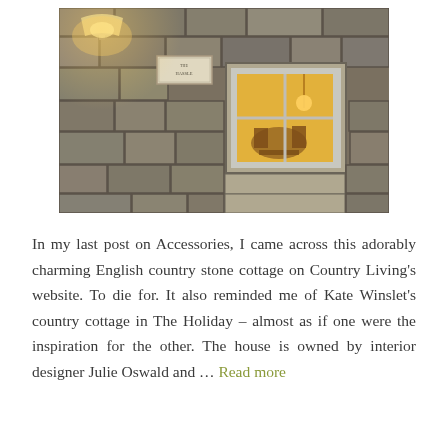[Figure (photo): Exterior of an English country stone cottage at night. Stone wall with a glowing window showing warm interior light with armchair. A lamp above illuminates a small sign on the wall reading 'THE HASSLE' or similar. White-framed window with multiple panes.]
In my last post on Accessories, I came across this adorably charming English country stone cottage on Country Living's website. To die for. It also reminded me of Kate Winslet's country cottage in The Holiday – almost as if one were the inspiration for the other. The house is owned by interior designer Julie Oswald and … Read more